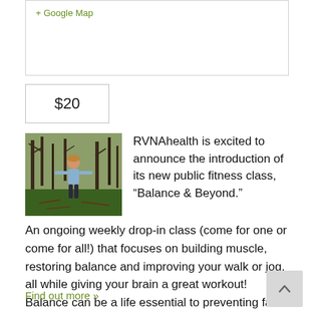+ Google Map
$20
[Figure (photo): Child standing outdoors in a wooded area with bare trees and green grass in the background]
RVNAhealth is excited to announce the introduction of its new public fitness class, “Balance & Beyond.”
An ongoing weekly drop-in class (come for one or come for all!) that focuses on building muscle, restoring balance and improving your walk or jog, all while giving your brain a great workout! Balance can be a life essential to preventing falls and keeping daily activities of life within our control. The old adage of “use it or lose it’ doesn’t ring more true
Find out more »